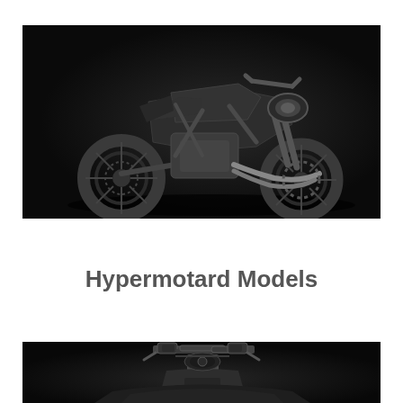[Figure (photo): Dark studio photograph of a Ducati cruiser/muscle motorcycle (likely Diavel model) on a black background, viewed from a front-left three-quarter angle. The motorcycle is dark/gunmetal colored.]
Hypermotard Models
[Figure (photo): Dark studio photograph of a Ducati Hypermotard motorcycle on a black background, partially visible, showing mostly the upper handlebars and front portion of the bike.]